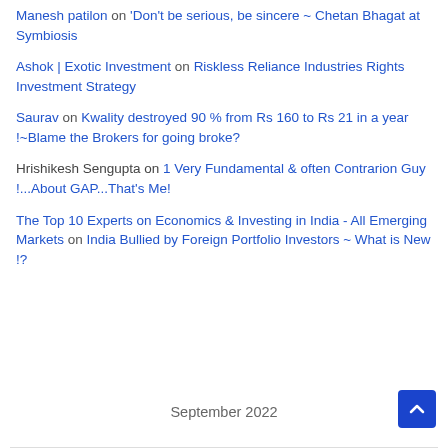Manesh patilon 'Don't be serious, be sincere ~ Chetan Bhagat at Symbiosis
Ashok | Exotic Investment on Riskless Reliance Industries Rights Investment Strategy
Saurav on Kwality destroyed 90 % from Rs 160 to Rs 21 in a year !~Blame the Brokers for going broke?
Hrishikesh Sengupta on 1 Very Fundamental & often Contrarion Guy !...About GAP...That's Me!
The Top 10 Experts on Economics & Investing in India - All Emerging Markets on India Bullied by Foreign Portfolio Investors ~ What is New !?
September 2022